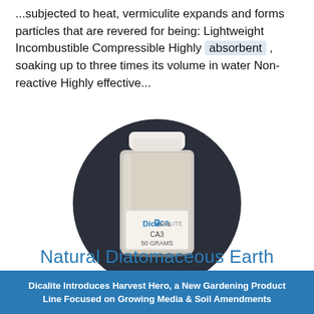...subjected to heat, vermiculite expands and forms particles that are revered for being: Lightweight Incombustible Compressible Highly absorbent , soaking up to three times its volume in water Non-reactive Highly effective...
[Figure (photo): A circular photo showing a clear plastic jar with a white lid, labeled 'Dicalite CA3 50 GRAMS', containing a white granular substance, set against a dark background.]
Natural Diatomaceous Earth
Dicalite Introduces Harvest Hero, a New Gardening Product Line Focused on Growing Media & Soil Amendments